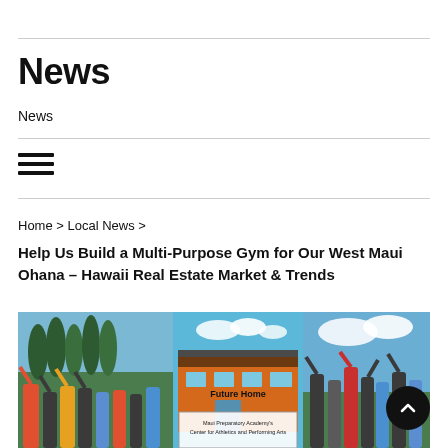News
News
[Figure (other): Hamburger menu icon with three horizontal lines]
Home > Local News >
Help Us Build a Multi-Purpose Gym for Our West Maui Ohana – Hawaii Real Estate Market & Trends
[Figure (photo): Composite photo showing excited children and youth celebrating outdoors with tall pine trees in background on the left, a building rendering sign reading Future Home Maui Preparatory Academy Center for Athletics and Performing Arts in the center, and more excited children and youth on the right under a blue sky with clouds]